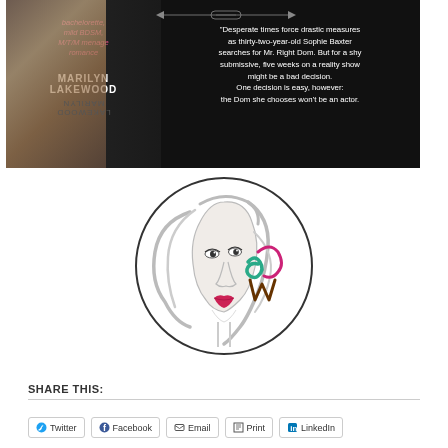[Figure (illustration): Book cover image on dark background showing a male torso on left, pink italic text listing genres (bachelorette, mild BDSM, M/T/M menage romance), author name MARILYN LAKEWOOD, with an arrow graphic and a quote about Sophie Baxter searching for Mr. Right Dom on a reality show.]
[Figure (logo): Circular logo with a sketch-style woman's face with flowing hair and red lips, overlaid with stylized colorful letters resembling 'SW' or 'BW' in teal, pink, and brown.]
SHARE THIS:
Twitter
Facebook
Email
Print
LinkedIn